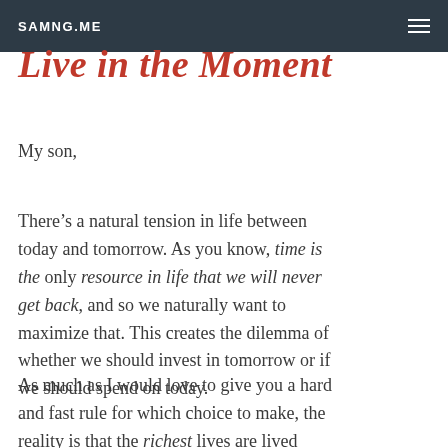SAMNG.ME
Live in the Moment
My son,
There’s a natural tension in life between today and tomorrow. As you know, time is the only resource in life that we will never get back, and so we naturally want to maximize that. This creates the dilemma of whether we should invest in tomorrow or if we should spend on today.
As much as I would love to give you a hard and fast rule for which choice to make, the reality is that the richest lives are lived somewhere in the